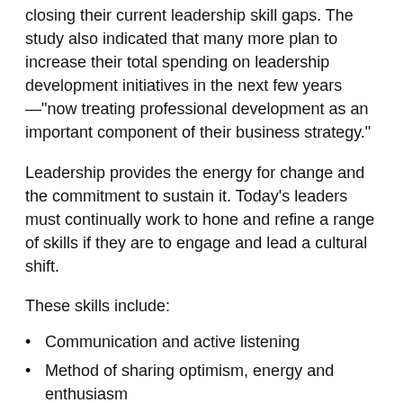closing their current leadership skill gaps. The study also indicated that many more plan to increase their total spending on leadership development initiatives in the next few years—"now treating professional development as an important component of their business strategy."
Leadership provides the energy for change and the commitment to sustain it. Today's leaders must continually work to hone and refine a range of skills if they are to engage and lead a cultural shift.
These skills include:
Communication and active listening
Method of sharing optimism, energy and enthusiasm
Empathy
Consistency
Dependability
Motivation